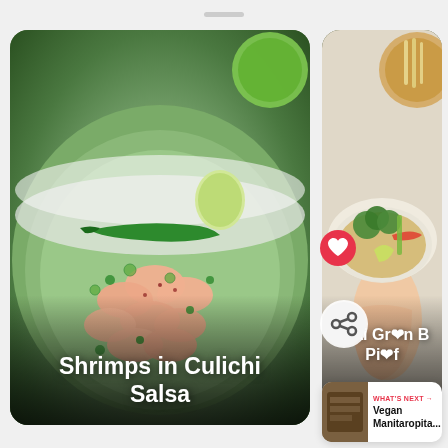[Figure (photo): Left card: food photo of shrimps in green culichi sauce in a white bowl, garnished with green chilies, cilantro, and lime wedges. Title overlay reads 'Shrimps in Culichi Salsa'.]
Shrimps in Culichi Salsa
[Figure (photo): Right card (partially visible): food photo of Thai green bowl dish held by a hand, with broccoli, rice, lime, and chili. Title overlay reads 'Thai Gr[een] [Bowl] Pi[laf?]' with heart and share icons overlaid.]
Thai Gr❤n B Pi❤f
WHAT'S NEXT → Vegan Manitaropita...